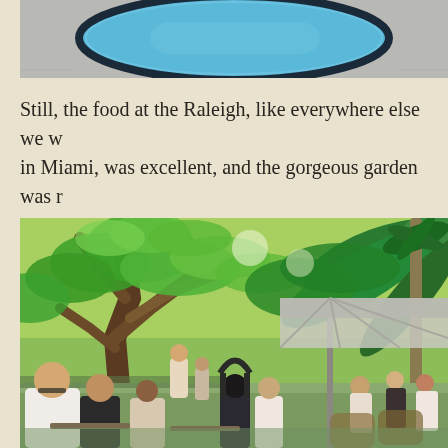[Figure (photo): Top portion of a pool with blue water and dark oval border, set in grey pavement]
Still, the food at the Raleigh, like everywhere else we w... in Miami, was excellent, and the gorgeous garden was r... up my alley.
[Figure (photo): Outdoor garden dining area at the Raleigh hotel in Miami, with large tropical trees, lush green foliage, people seated at tables under umbrellas]